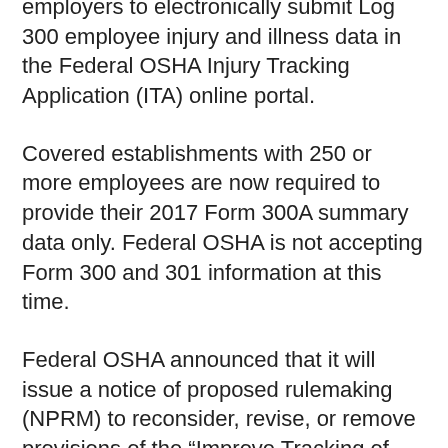employers to electronically submit Log 300 employee injury and illness data in the Federal OSHA Injury Tracking Application (ITA) online portal.
Covered establishments with 250 or more employees are now required to provide their 2017 Form 300A summary data only. Federal OSHA is not accepting Form 300 and 301 information at this time.
Federal OSHA announced that it will issue a notice of proposed rulemaking (NPRM) to reconsider, revise, or remove provisions of the “Improve Tracking of Workplace Injuries and Illnesses” final rule, including the collection of the Form 300/301 data...